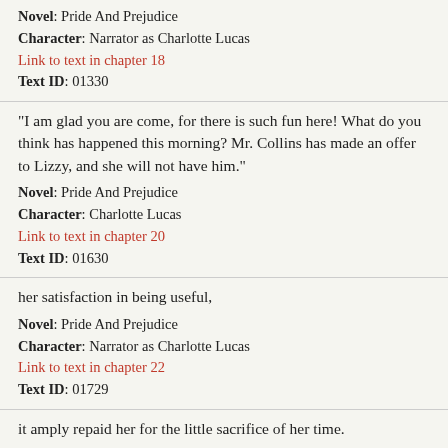Novel: Pride And Prejudice
Character: Narrator as Charlotte Lucas
Link to text in chapter 18
Text ID: 01330
“I am glad you are come, for there is such fun here! What do you think has happened this morning? Mr. Collins has made an offer to Lizzy, and she will not have him.”
Novel: Pride And Prejudice
Character: Charlotte Lucas
Link to text in chapter 20
Text ID: 01630
her satisfaction in being useful,
Novel: Pride And Prejudice
Character: Narrator as Charlotte Lucas
Link to text in chapter 22
Text ID: 01729
it amply repaid her for the little sacrifice of her time.
Novel: Pride And Prejudice